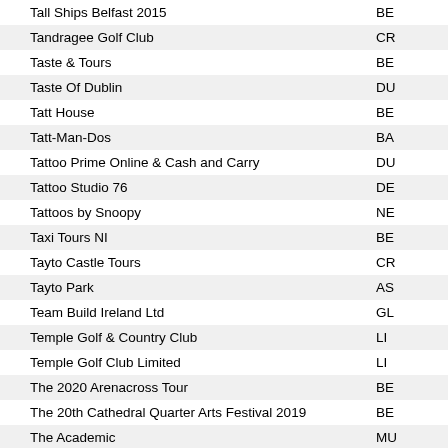| Name | Code |
| --- | --- |
| Tall Ships Belfast 2015 | BE |
| Tandragee Golf Club | CR |
| Taste & Tours | BE |
| Taste Of Dublin | DU |
| Tatt House | BE |
| Tatt-Man-Dos | BA |
| Tattoo Prime Online & Cash and Carry | DU |
| Tattoo Studio 76 | DE |
| Tattoos by Snoopy | NE |
| Taxi Tours NI | BE |
| Tayto Castle Tours | CR |
| Tayto Park | AS |
| Team Build Ireland Ltd | GL |
| Temple Golf & Country Club | LI |
| Temple Golf Club Limited | LI |
| The 2020 Arenacross Tour | BE |
| The 20th Cathedral Quarter Arts Festival 2019 | BE |
| The Academic | MU |